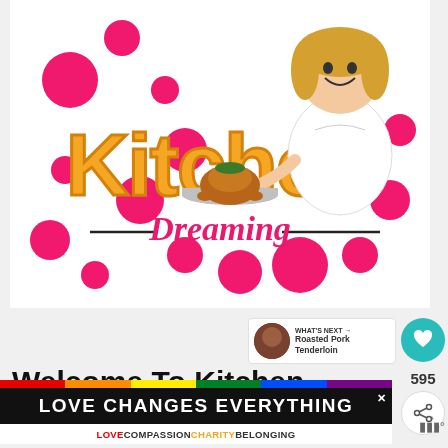[Figure (logo): Kitchen Dreaming logo with pink polka dots background, cartoon female chef holding a roasted turkey on a platter, colorful text 'Kitchen' in orange/yellow and 'Dreaming' in pink with decorative lines]
595
WHAT'S NEXT → Roasted Pork Tenderloin
Welcome To Kitchen Dreaming!
[Figure (infographic): Ad banner: rainbow color strip at top, black background with white bold text 'LOVE CHANGES EVERYTHING' and close button X, white bottom strip with colored text 'LOVE COMPASSION CHARITY BELONGING']